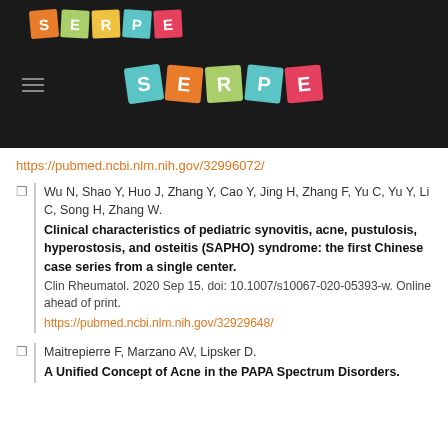[Figure (logo): SERPE logo in header bar — colorful letter tiles on dark background, with smaller top-left logo and hamburger menu]
https://pubmed.ncbi.nlm.nih.gov/32996072/
Wu N, Shao Y, Huo J, Zhang Y, Cao Y, Jing H, Zhang F, Yu C, Yu Y, Li C, Song H, Zhang W. Clinical characteristics of pediatric synovitis, acne, pustulosis, hyperostosis, and osteitis (SAPHO) syndrome: the first Chinese case series from a single center. Clin Rheumatol. 2020 Sep 15. doi: 10.1007/s10067-020-05393-w. Online ahead of print. https://pubmed.ncbi.nlm.nih.gov/32929648/
Maitrepierre F, Marzano AV, Lipsker D. A Unified Concept of Acne in the PAPA Spectrum Disorders.